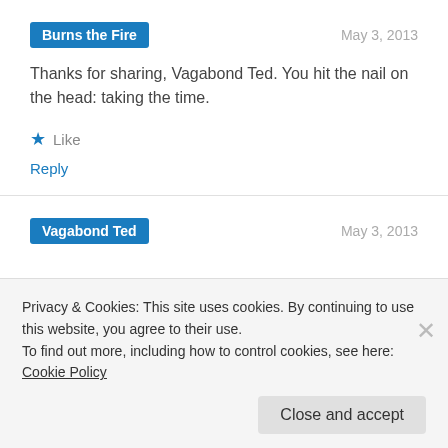Burns the Fire
May 3, 2013
Thanks for sharing, Vagabond Ted. You hit the nail on the head: taking the time.
Like
Reply
Vagabond Ted
May 3, 2013
Privacy & Cookies: This site uses cookies. By continuing to use this website, you agree to their use.
To find out more, including how to control cookies, see here: Cookie Policy
Close and accept